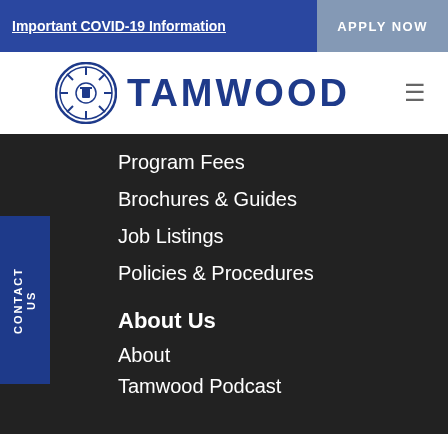Important COVID-19 Information | APPLY NOW
[Figure (logo): Tamwood logo with circular emblem and bold blue TAMWOOD text]
Program Fees
Brochures & Guides
Job Listings
Policies & Procedures
About Us
About
Tamwood Podcast
By clicking 'Accept', you agree to the storing of cookies on your device to enhance your site experience and for analytical purposes.
Accept | Read More